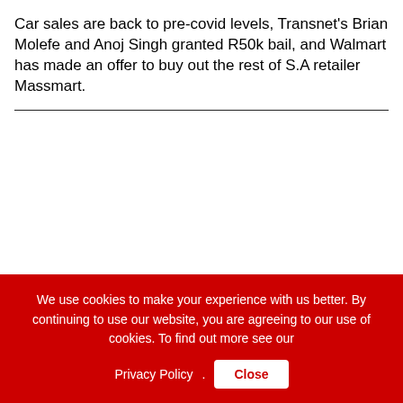Car sales are back to pre-covid levels, Transnet's Brian Molefe and Anoj Singh granted R50k bail, and Walmart has made an offer to buy out the rest of S.A retailer Massmart.
Money Market with Chris Gibbons
We use cookies to make your experience with us better. By continuing to use our website, you are agreeing to our use of cookies. To find out more see our Privacy Policy. Close